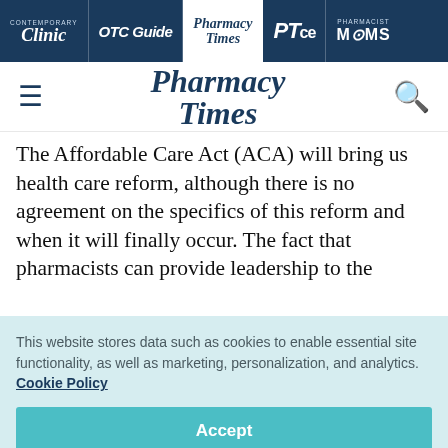Clinic | OTC Guide | Pharmacy Times | PTce | Pharmacist MOMS
Pharmacy Times
The Affordable Care Act (ACA) will bring us health care reform, although there is no agreement on the specifics of this reform and when it will finally occur. The fact that pharmacists can provide leadership to the
This website stores data such as cookies to enable essential site functionality, as well as marketing, personalization, and analytics. Cookie Policy
Accept
Deny